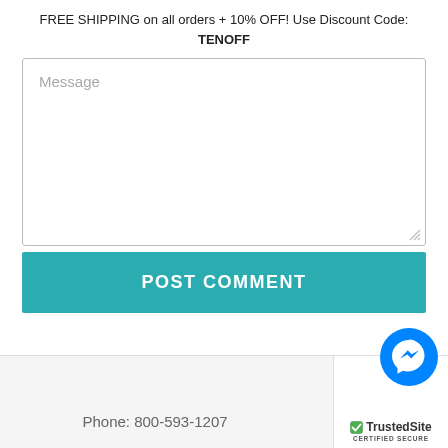FREE SHIPPING on all orders + 10% OFF! Use Discount Code: TENOFF
[Figure (screenshot): Message text area input box with placeholder text 'Message' and resize handle]
POST COMMENT
Phone: 800-593-1207
[Figure (logo): Facebook Messenger icon (blue circle with lightning bolt) above TrustedSite Certified Secure badge with green checkmark]